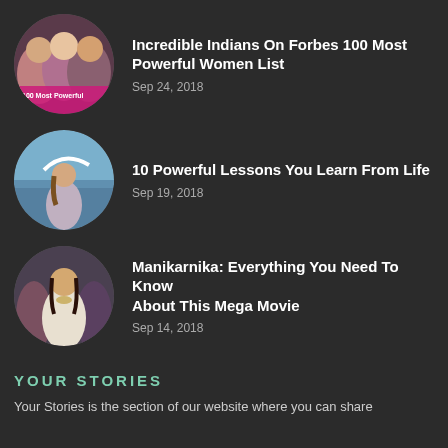[Figure (photo): Circular thumbnail of three Indian women, with text overlay reading '100 Most Powerful']
Incredible Indians On Forbes 100 Most Powerful Women List
Sep 24, 2018
[Figure (photo): Circular thumbnail of a woman standing by the sea holding a white scarf]
10 Powerful Lessons You Learn From Life
Sep 19, 2018
[Figure (photo): Circular thumbnail of a woman in traditional Indian attire, possibly Kangana Ranaut as Manikarnika]
Manikarnika: Everything You Need To Know About This Mega Movie
Sep 14, 2018
YOUR STORIES
Your Stories is the section of our website where you can share